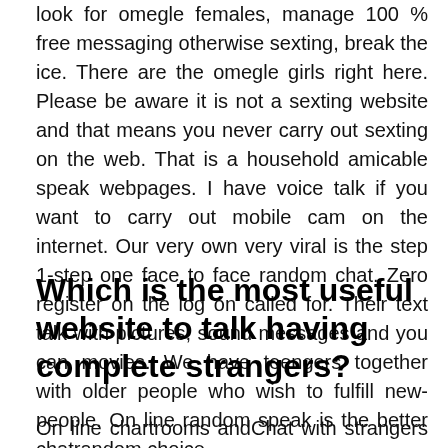look for omegle females, manage 100 % free messaging otherwise sexting, break the ice. There are the omegle girls right here. Please be aware it is not a sexting website and that means you never carry out sexting on the web. That is a household amicable speak webpages. I have voice talk if you want to carry out mobile cam on the internet. Our very own very viral is the step 1-step one face to face random chat. Zero register on the log on called for. Their text talk with pictures, sound messages and you can movies. We have teengers together with older people who wish to fulfill new-people. On line random speak is the better chatrandom choice.
Which is the most useful website to talk having complete strangers?
On line chartrooms andChat with strangers online ,A